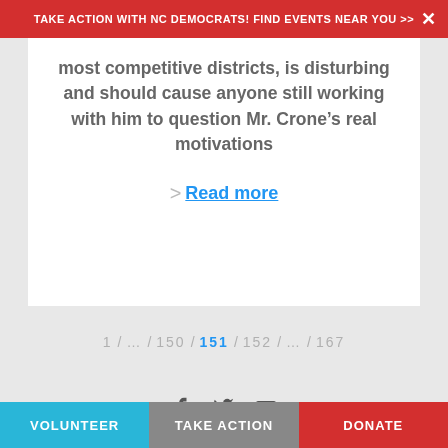Take action with NC Democrats! Find events near you >>
most competitive districts, is disturbing and should cause anyone still working with him to question Mr. Crone's real motivations
Read more
1 / … / 150 / 151 / 152 / … / 167
Volunteer | Take Action | Donate